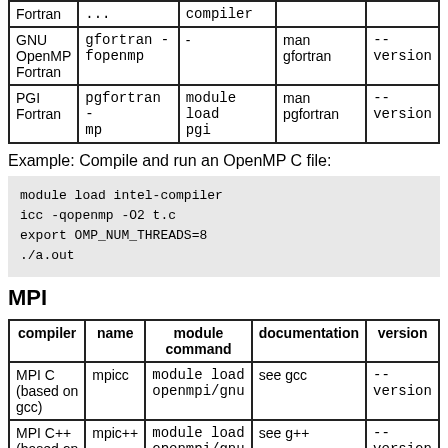| GNU OpenMP Fortran | gfortran -fopenmp | - | man gfortran | --version |
| PGI Fortran | pgfortran -mp | module load pgi | man pgfortran | --version |
Example: Compile and run an OpenMP C file:
module load intel-compiler
icc -qopenmp -O2 t.c
export OMP_NUM_THREADS=8
./a.out
MPI
| compiler | name | module command | documentation | version |
| --- | --- | --- | --- | --- |
| MPI C (based on gcc) | mpicc | module load openmpi/gnu | see gcc | --version |
| MPI C++ (based on ... | mpic++ | module load openmpi/gnu | see g++ | --version |